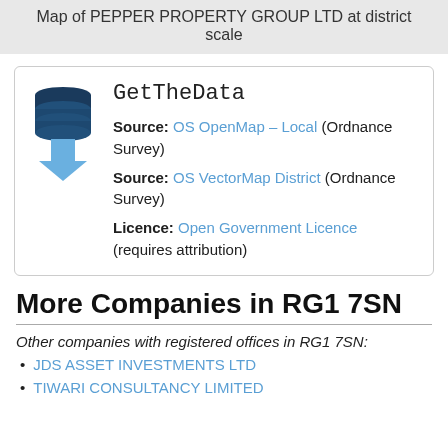Map of PEPPER PROPERTY GROUP LTD at district scale
[Figure (logo): GetTheData logo with stacked database cylinders icon and downward blue arrow, with text 'GetTheData' in monospace font]
Source: OS OpenMap – Local (Ordnance Survey)
Source: OS VectorMap District (Ordnance Survey)
Licence: Open Government Licence (requires attribution)
More Companies in RG1 7SN
Other companies with registered offices in RG1 7SN:
JDS ASSET INVESTMENTS LTD
TIWARI CONSULTANCY LIMITED